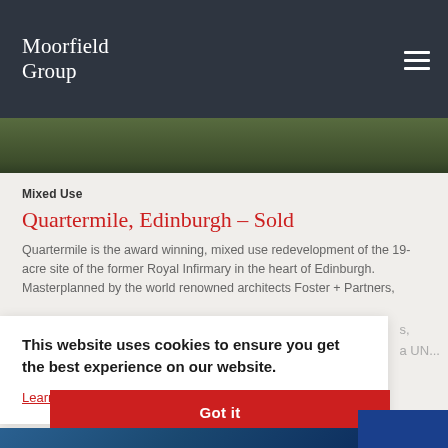Moorfield Group
[Figure (photo): Aerial or landscape photo strip showing green foliage/trees]
Mixed Use
Quartermile, Edinburgh – Sold
Quartermile is the award winning, mixed use redevelopment of the 19-acre site of the former Royal Infirmary in the heart of Edinburgh. Masterplanned by the world renowned architects Foster + Partners,
This website uses cookies to ensure you get the best experience on our website.
Learn more
Got it
[Figure (photo): Partial view of building or architectural feature in blue tones at bottom]